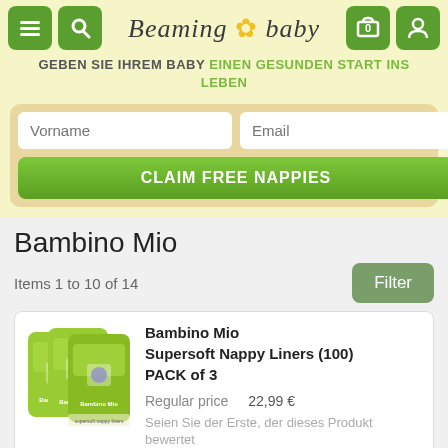[Figure (screenshot): Beaming Baby website header with navigation icons (menu, search, cart, profile), logo, tagline in German, email signup form with Vorname and Email fields, and a green CLAIM FREE NAPPIES button]
Bambino Mio
Items 1 to 10 of 14
[Figure (photo): Three green Bambino Mio Supersoft Nappy Liners packages arranged side by side]
Bambino Mio Supersoft Nappy Liners (100) PACK of 3
Regular price   22,99 €
Seien Sie der Erste, der dieses Produkt bewertet